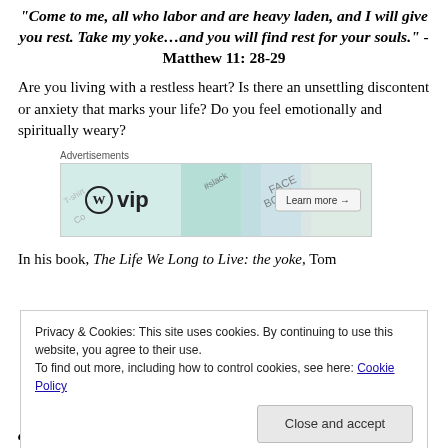"Come to me, all who labor and are heavy laden, and I will give you rest. Take my yoke…and you will find rest for your souls." -Matthew 11: 28-29
Are you living with a restless heart? Is there an unsettling discontent or anxiety that marks your life? Do you feel emotionally and spiritually weary?
[Figure (other): WordPress VIP advertisement banner with logos of WordPress, Slack, Facebook and other tools, with a 'Learn more' button]
In his book, The Life We Long to Live: the yoke, Tom
Privacy & Cookies: This site uses cookies. By continuing to use this website, you agree to their use. To find out more, including how to control cookies, see here: Cookie Policy
always, he will satisfy your needs in a sun-scorched